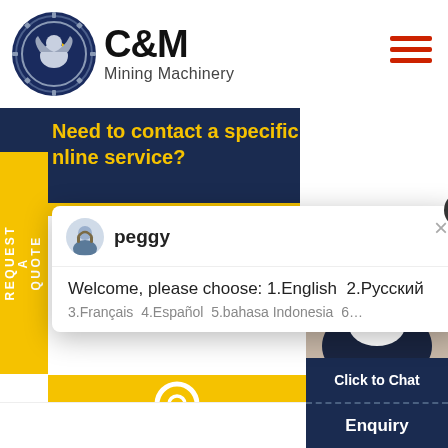[Figure (logo): C&M Mining Machinery logo with eagle in gear circle, dark navy blue, with hamburger menu icon in red on right]
[Figure (screenshot): Website banner: 'Need to contact a specific online service?' on dark navy background with yellow text, yellow bottom bar]
REQUEST A QUOTE
[Figure (screenshot): Chat popup with avatar icon for 'peggy', message: 'Welcome, please choose: 1.English  2.Русский', partial text '3.Français  4.Español  5.bahasa Indonesia  6...']
[Figure (screenshot): Yellow section with location pin icon, and photo of female customer service agent wearing headset with notification badge showing '1', 'Click to Chat' button, and 'Enquiry' label]